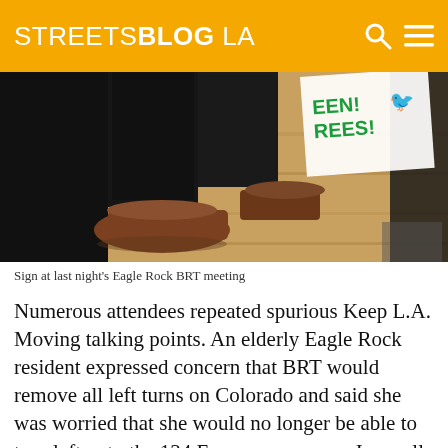STREETSBLOG LA
[Figure (photo): Photo of a person's legs and brown dress shoes standing on a wooden floor, holding a white sign with green text reading 'TREES!' with a bird icon, at the Eagle Rock BRT meeting.]
Sign at last night's Eagle Rock BRT meeting
Numerous attendees repeated spurious Keep L.A. Moving talking points. An elderly Eagle Rock resident expressed concern that BRT would remove all left turns on Colorado and said she was worried that she would no longer be able to turn left onto the 134 Freeway on-ramp. In small group discussions, Metro staff did a good job dispelling these bogus Keep L.A.